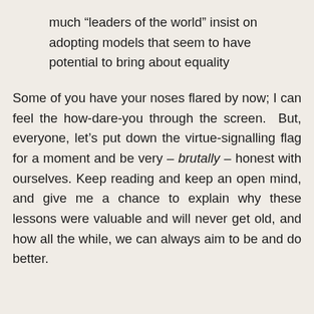much “leaders of the world” insist on adopting models that seem to have potential to bring about equality
Some of you have your noses flared by now; I can feel the how-dare-you through the screen. But, everyone, let’s put down the virtue-signalling flag for a moment and be very – brutally – honest with ourselves. Keep reading and keep an open mind, and give me a chance to explain why these lessons were valuable and will never get old, and how all the while, we can always aim to be and do better.